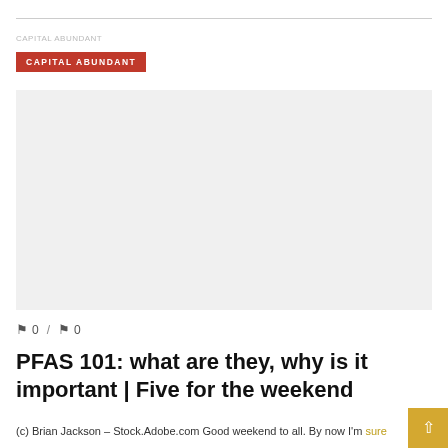CAPITAL ABUNDANT
[Figure (photo): Large image placeholder area (advertisement or article image)]
0 / 0
PFAS 101: what are they, why is it important | Five for the weekend
(c) Brian Jackson – Stock.Adobe.com Good weekend to all. By now I'm sure